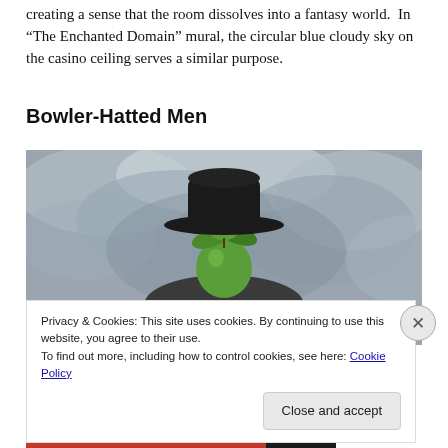creating a sense that the room dissolves into a fantasy world. In “The Enchanted Domain” mural, the circular blue cloudy sky on the casino ceiling serves a similar purpose.
Bowler-Hatted Men
[Figure (photo): Painting showing a bowler-hatted man whose face is obscured by a green apple with leaves, set against a cloudy grey sky background. Appears to be Magritte's 'The Son of Man'.]
Privacy & Cookies: This site uses cookies. By continuing to use this website, you agree to their use.
To find out more, including how to control cookies, see here: Cookie Policy
Close and accept